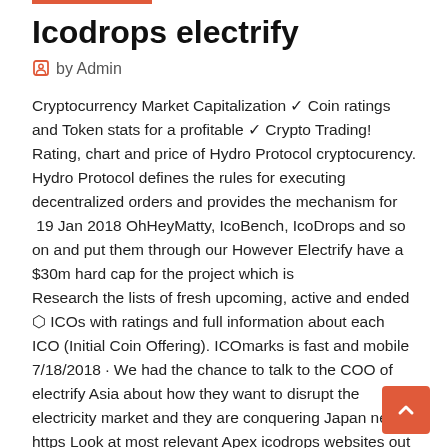Icodrops electrify
by Admin
Cryptocurrency Market Capitalization ✓ Coin ratings and Token stats for a profitable ✓ Crypto Trading! Rating, chart and price of Hydro Protocol cryptocurency. Hydro Protocol defines the rules for executing decentralized orders and provides the mechanism for  19 Jan 2018 OhHeyMatty, IcoBench, IcoDrops and so on and put them through our However Electrify have a $30m hard cap for the project which is Research the lists of fresh upcoming, active and ended ⬡ ICOs with ratings and full information about each ICO (Initial Coin Offering). ICOmarks is fast and mobile 7/18/2018 · We had the chance to talk to the COO of electrify Asia about how they want to disrupt the electricity market and they are conquering Japan next. https Look at most relevant Apex icodrops websites out of 41 at KeywordSpace.com. Apex icodrops found at tools.icodrops.com, dev.icodrops.com, coingecko.com and etc.